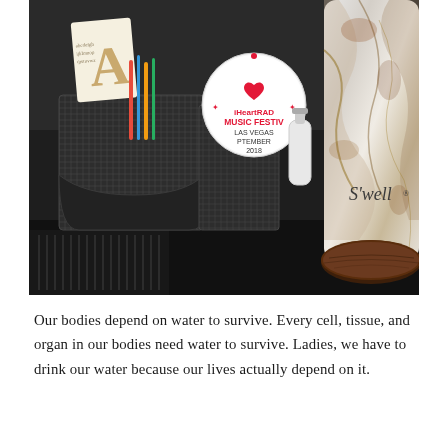[Figure (photo): A photo of a desktop surface showing a black mesh desk organizer holding pens and a letter 'A' ornament with script writing, a circular iHeartRADIO Music Festival Las Vegas September 2018 badge/coaster, a small bottle, and a S'well marble-patterned water bottle on a wooden coaster, all on a dark desk surface.]
Our bodies depend on water to survive. Every cell, tissue, and organ in our bodies need water to survive. Ladies, we have to drink our water because our lives actually depend on it.